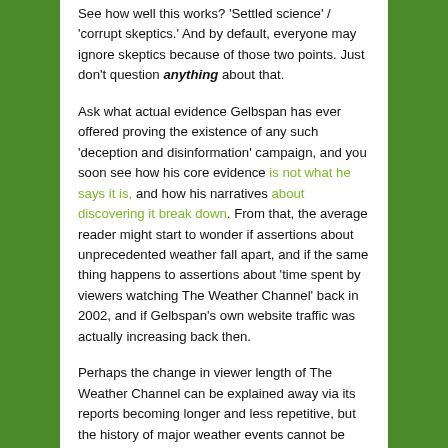See how well this works? 'Settled science' / 'corrupt skeptics.' And by default, everyone may ignore skeptics because of those two points. Just don't question anything about that.
Ask what actual evidence Gelbspan has ever offered proving the existence of any such 'deception and disinformation' campaign, and you soon see how his core evidence is not what he says it is, and how his narratives about discovering it break down. From that, the average reader might start to wonder if assertions about unprecedented weather fall apart, and if the same thing happens to assertions about 'time spent by viewers watching The Weather Channel' back in 2002, and if Gelbspan's own website traffic was actually increasing back then.
Perhaps the change in viewer length of The Weather Channel can be explained away via its reports becoming longer and less repetitive, but the history of major weather events cannot be erased, nor can myriad problems with Gelbspan's own narratives. Given how cancerous doubt